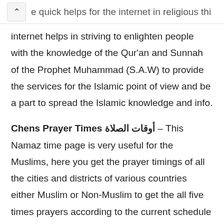e quick helps for the internet in religious things,
internet helps in striving to enlighten people with the knowledge of the Qur'an and Sunnah of the Prophet Muhammad (S.A.W) to provide the services for the Islamic point of view and be a part to spread the Islamic knowledge and info.
Chens Prayer Times أوقات الصلاة – This Namaz time page is very useful for the Muslims, here you get the prayer timings of all the cities and districts of various countries either Muslim or Non-Muslim to get the all five times prayers according to the current schedule of Salah time in your location. This page provides the Chens Namaz Time with Sunrise to give the quick services for the citizens of Chens with the help of it they can offer Salah on